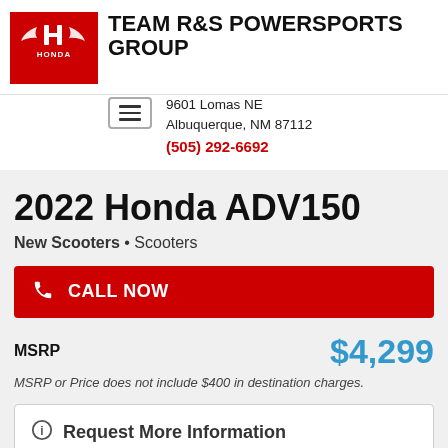[Figure (logo): Honda logo — red background with white Honda wing/H emblem and HONDA text]
TEAM R&S POWERSPORTS GROUP
9601 Lomas NE
Albuquerque, NM 87112
(505) 292-6692
[Figure (other): Hamburger menu icon (three horizontal lines in a rounded rectangle border)]
2022 Honda ADV150
New Scooters • Scooters
CALL NOW
MSRP   $4,299
MSRP or Price does not include $400 in destination charges.
Request More Information